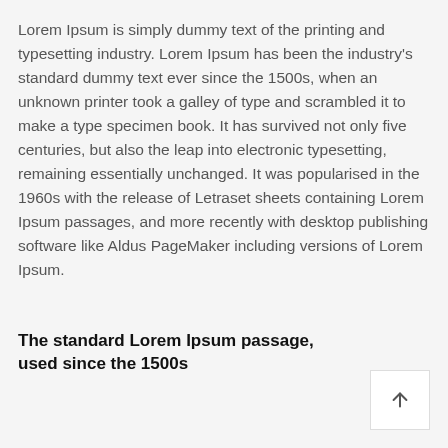Lorem Ipsum is simply dummy text of the printing and typesetting industry. Lorem Ipsum has been the industry's standard dummy text ever since the 1500s, when an unknown printer took a galley of type and scrambled it to make a type specimen book. It has survived not only five centuries, but also the leap into electronic typesetting, remaining essentially unchanged. It was popularised in the 1960s with the release of Letraset sheets containing Lorem Ipsum passages, and more recently with desktop publishing software like Aldus PageMaker including versions of Lorem Ipsum.
The standard Lorem Ipsum passage, used since the 1500s